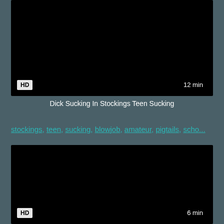[Figure (photo): Black video thumbnail with HD badge bottom-left and 12 min duration bottom-right]
Dick Sucking In Stockings Teen Sucking
stockings, teen, sucking, blowjob, amateur, pigtails, scho...
[Figure (photo): Black video thumbnail with HD badge bottom-left and 6 min duration bottom-right]